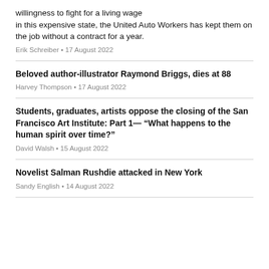willingness to fight for a living wage in this expensive state, the United Auto Workers has kept them on the job without a contract for a year.
Erik Schreiber • 17 August 2022
Beloved author-illustrator Raymond Briggs, dies at 88
Harvey Thompson • 17 August 2022
Students, graduates, artists oppose the closing of the San Francisco Art Institute: Part 1— “What happens to the human spirit over time?”
David Walsh • 15 August 2022
Novelist Salman Rushdie attacked in New York
Sandy English • 14 August 2022